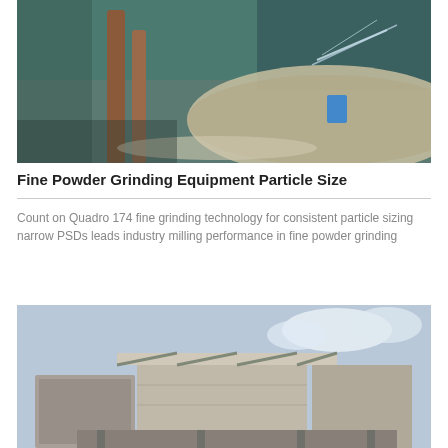[Figure (photo): Industrial grinding equipment interior showing metal pipes, machinery components, and teal/green coloring with what appears to be grinding or milling machinery in an industrial setting.]
Fine Powder Grinding Equipment Particle Size
Count on Quadro 174 fine grinding technology for consistent particle sizing narrow PSDs leads industry milling performance in fine powder grinding
[Figure (photo): Exterior industrial view of large milling or grinding equipment structure showing metal framework, industrial building components, and machinery mounted on elevated steel structure against a partly cloudy sky.]